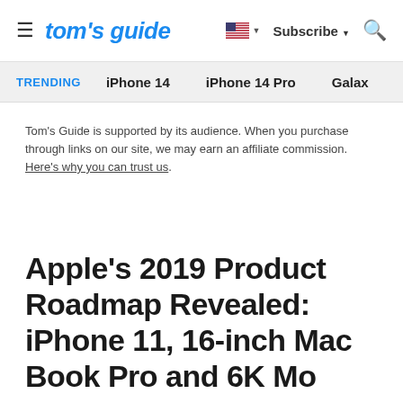tom's guide | Subscribe | Search
TRENDING   iPhone 14   iPhone 14 Pro   Galaxy
Tom's Guide is supported by its audience. When you purchase through links on our site, we may earn an affiliate commission. Here's why you can trust us.
Apple's 2019 Product Roadmap Revealed: iPhone 11, 16-inch Mac Book Pro and 6K Monitor...